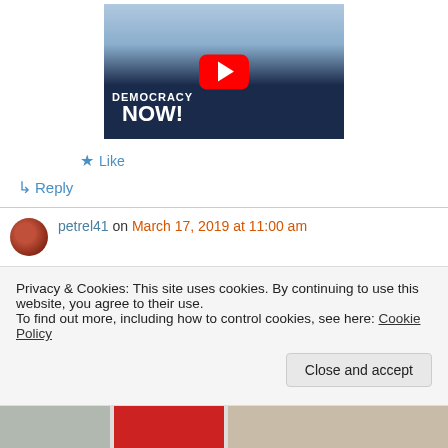[Figure (screenshot): YouTube video thumbnail showing a man in a suit with the US Capitol building in background, with 'DEMOCRACY NOW!' text overlay and a YouTube play button]
Like
Reply
petrel41 on March 17, 2019 at 11:00 am
Privacy & Cookies: This site uses cookies. By continuing to use this website, you agree to their use.
To find out more, including how to control cookies, see here: Cookie Policy
Close and accept